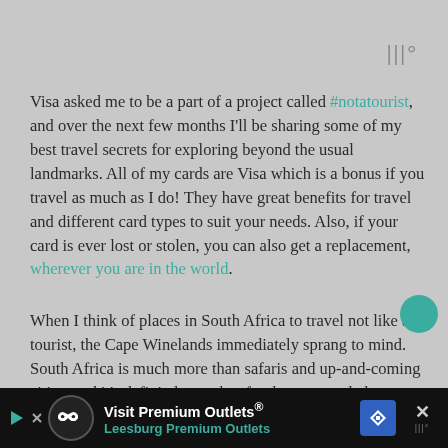|||°
Visa asked me to be a part of a project called #notatourist, and over the next few months I'll be sharing some of my best travel secrets for exploring beyond the usual landmarks. All of my cards are Visa which is a bonus if you travel as much as I do! They have great benefits for travel and different card types to suit your needs. Also, if your card is ever lost or stolen, you can also get a replacement, wherever you are in the world.
When I think of places in South Africa to travel not like a tourist, the Cape Winelands immediately sprang to mind. South Africa is much more than safaris and up-and-coming cities, and it's definitely much safer than we are led
[Figure (other): Advertisement banner: Visit Premium Outlets® - Leesburg Premium Outlets, with infinity logo and navigation icon]